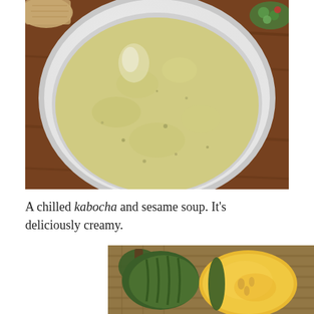[Figure (photo): A white bowl filled with a creamy pale yellow-green kabocha and sesame soup, photographed from above on a wooden table. Bread and a salad with green vegetables are visible at edges of frame.]
A chilled kabocha and sesame soup. It's deliciously creamy.
[Figure (photo): A partial view of kabocha squash showing its green and yellow ribbed skin with some cut pieces revealing yellow-orange flesh, placed on what appears to be a woven surface.]